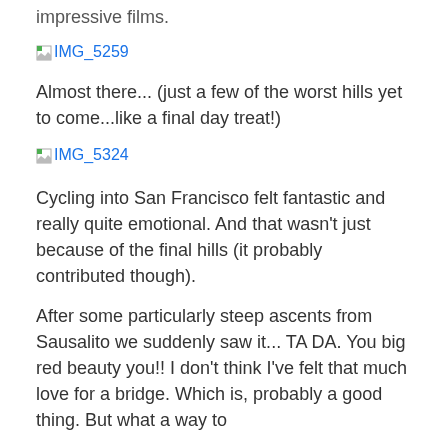impressive films.
[Figure (photo): Broken image placeholder link labeled IMG_5259]
Almost there... (just a few of the worst hills yet to come...like a final day treat!)
[Figure (photo): Broken image placeholder link labeled IMG_5324]
Cycling into San Francisco felt fantastic and really quite emotional. And that wasn't just because of the final hills (it probably contributed though).
After some particularly steep ascents from Sausalito we suddenly saw it... TA DA. You big red beauty you!! I don't think I've felt that much love for a bridge. Which is, probably a good thing. But what a way to